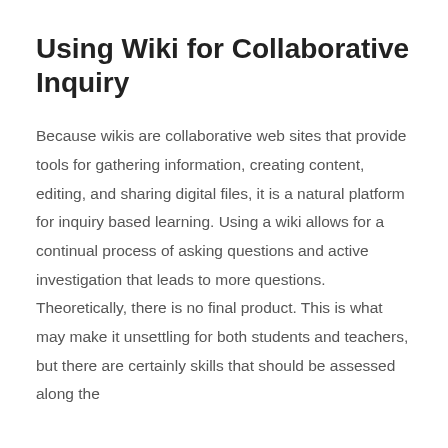Using Wiki for Collaborative Inquiry
Because wikis are collaborative web sites that provide tools for gathering information, creating content, editing, and sharing digital files, it is a natural platform for inquiry based learning. Using a wiki allows for a continual process of asking questions and active investigation that leads to more questions. Theoretically, there is no final product. This is what may make it unsettling for both students and teachers, but there are certainly skills that should be assessed along the